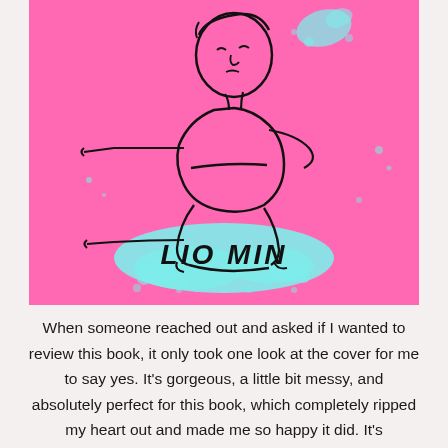[Figure (illustration): Book cover illustration on a hot pink background. A line-drawing figure of a person sitting hugging their knees, with teal/cyan paint splashes around them and especially at the bottom. The name 'LIO MIN' is written in hand-lettered black text on a teal paint splash at the bottom.]
When someone reached out and asked if I wanted to review this book, it only took one look at the cover for me to say yes. It's gorgeous, a little bit messy, and absolutely perfect for this book, which completely ripped my heart out and made me so happy it did. It's